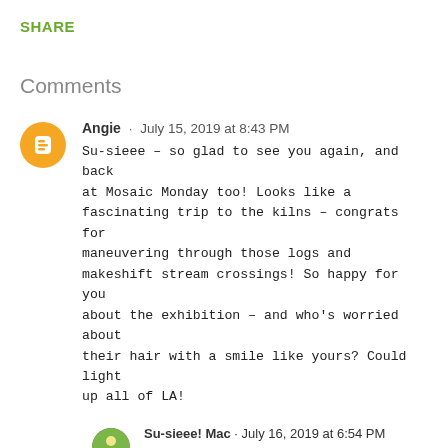SHARE
Comments
Angie · July 15, 2019 at 8:43 PM
Su-sieee – so glad to see you again, and back at Mosaic Monday too! Looks like a fascinating trip to the kilns – congrats for maneuvering through those logs and makeshift stream crossings! So happy for you about the exhibition – and who's worried about their hair with a smile like yours? Could light up all of LA!
Su-sieee! Mac · July 16, 2019 at 6:54 PM
"…light up all of LA!" ha, ha, Angie. I am flattered and at the moment smiling.